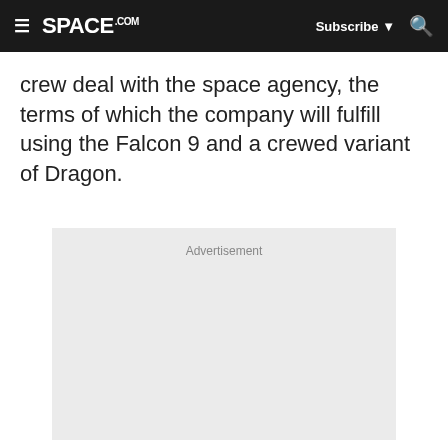≡ SPACE.com  Subscribe ▾  🔍
crew deal with the space agency, the terms of which the company will fulfill using the Falcon 9 and a crewed variant of Dragon.
[Figure (other): Advertisement placeholder box with 'Advertisement' label at top]